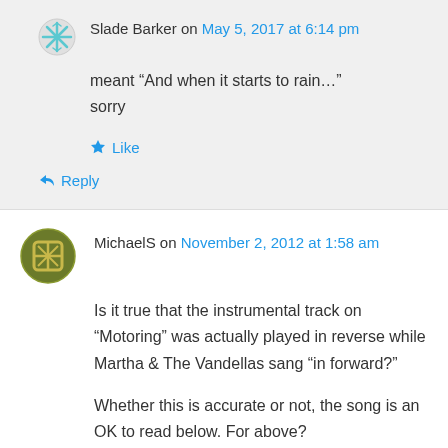Slade Barker on May 5, 2017 at 6:14 pm
meant “And when it starts to rain…” sorry
Like
Reply
MichaelS on November 2, 2012 at 1:58 am
Is it true that the instrumental track on “Motoring” was actually played in reverse while Martha & The Vandellas sang “in forward?”
Whether this is accurate or not, the song is an OK to read below. For above?